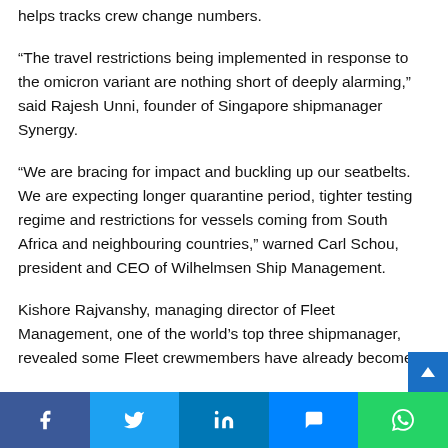helps tracks crew change numbers.
“The travel restrictions being implemented in response to the omicron variant are nothing short of deeply alarming,” said Rajesh Unni, founder of Singapore shipmanager Synergy.
“We are bracing for impact and buckling up our seatbelts. We are expecting longer quarantine period, tighter testing regime and restrictions for vessels coming from South Africa and neighbouring countries,” warned Carl Schou, president and CEO of Wilhelmsen Ship Management.
Kishore Rajvanshy, managing director of Fleet Management, one of the world’s top three shipmanager, revealed some Fleet crewmembers have already become
Facebook  Twitter  in  Messenger  WhatsApp